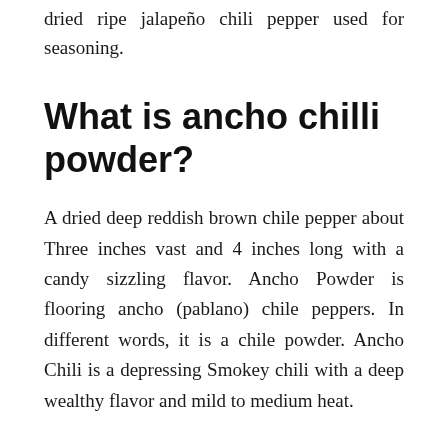dried ripe jalapeño chili pepper used for seasoning.
What is ancho chilli powder?
A dried deep reddish brown chile pepper about Three inches vast and 4 inches long with a candy sizzling flavor. Ancho Powder is flooring ancho (pablano) chile peppers. In different words, it is a chile powder. Ancho Chili is a depressing Smokey chili with a deep wealthy flavor and mild to medium heat.
How do you use guajillo chiles?